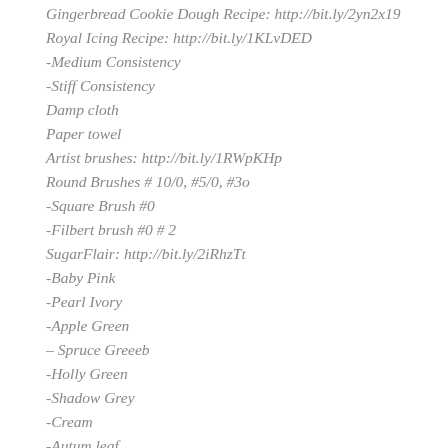Gingerbread Cookie Dough Recipe: http://bit.ly/2yn2x19
Royal Icing Recipe: http://bit.ly/1KLvDED
-Medium Consistency
-Stiff Consistency
Damp cloth
Paper towel
Artist brushes: http://bit.ly/1RWpKHp
Round Brushes # 10/0, #5/0, #3o
-Square Brush #0
-Filbert brush #0 # 2
SugarFlair: http://bit.ly/2iRhzTt
-Baby Pink
-Pearl Ivory
-Apple Green
– Spruce Greeeb
-Holly Green
-Shadow Grey
-Cream
-Autum leaf